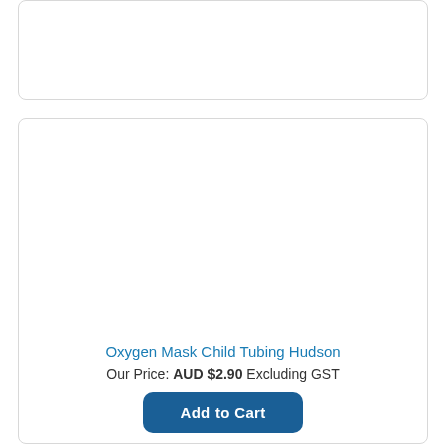[Figure (other): Top product card with empty white image area]
[Figure (other): Bottom product card with empty white image area for Oxygen Mask Child Tubing Hudson]
Oxygen Mask Child Tubing Hudson
Our Price: AUD $2.90 Excluding GST
Add to Cart